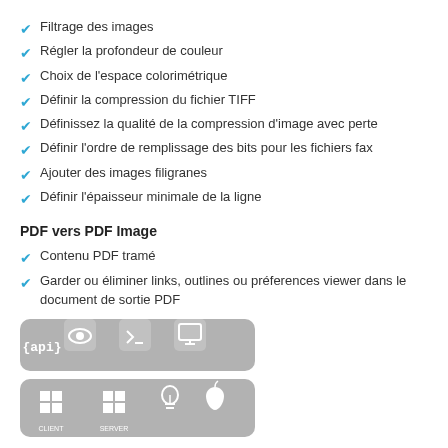Filtrage des images
Régler la profondeur de couleur
Choix de l'espace colorimétrique
Définir la compression du fichier TIFF
Définissez la qualité de la compression d'image avec perte
Définir l'ordre de remplissage des bits pour les fichiers fax
Ajouter des images filigranes
Définir l'épaisseur minimale de la ligne
PDF vers PDF Image
Contenu PDF tramé
Garder ou éliminer links, outlines ou préferences viewer dans le document de sortie PDF
[Figure (infographic): Gray rounded rectangle with API, eye, terminal, and monitor icons in white]
[Figure (infographic): Gray rounded rectangle with Windows Client, Windows Server, Linux (lightbulb), and Apple icons in white]
Conformance